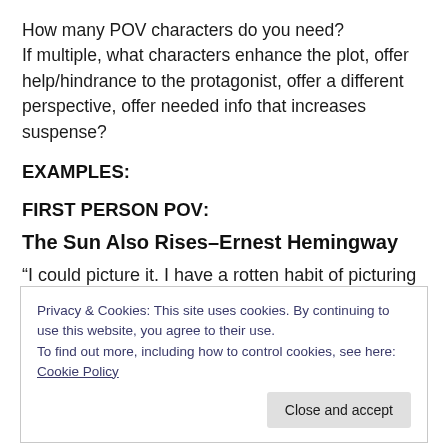How many POV characters do you need? If multiple, what characters enhance the plot, offer help/hindrance to the protagonist, offer a different perspective, offer needed info that increases suspense?
EXAMPLES:
FIRST PERSON POV:
The Sun Also Rises–Ernest Hemingway
“I could picture it. I have a rotten habit of picturing the
Privacy & Cookies: This site uses cookies. By continuing to use this website, you agree to their use.
To find out more, including how to control cookies, see here: Cookie Policy